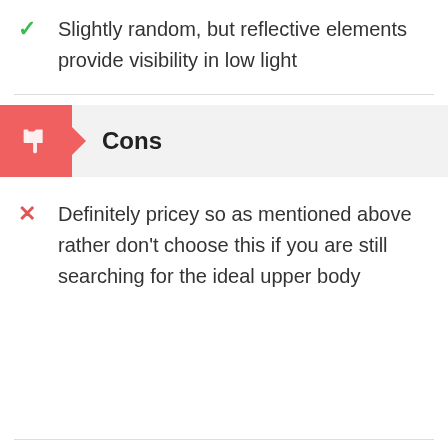Slightly random, but reflective elements provide visibility in low light
Cons
Definitely pricey so as mentioned above rather don't choose this if you are still searching for the ideal upper body